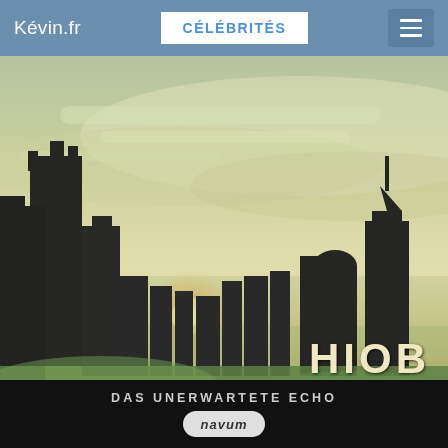Kévin.fr  CÉLÉBRITÉS
[Figure (photo): City skyline at sunset/dusk with tall buildings silhouetted against a hazy green and yellow sky, with fog or mist at the base. Book cover image for 'HIOB - Das unerwartete Echo' by publisher 'navum'.]
HIOB
DAS UNERWARTETE ECHO
navum